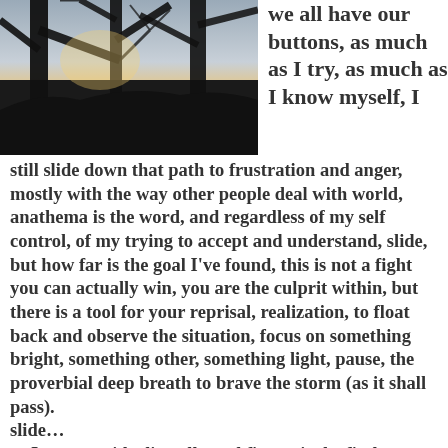[Figure (photo): Outdoor photograph of bare tree branches silhouetted against a twilight/sunrise sky with warm orange and yellow hues visible through the branches.]
we all have our buttons, as much as I try, as much as I know myself, I still slide down that path to frustration and anger, mostly with the way other people deal with world, anathema is the word, and regardless of my self control, of my trying to accept and understand, slide, but how far is the goal I've found, this is not a fight you can actually win, you are the culprit within, but there is a tool for your reprisal, realization, to float back and observe the situation, focus on something bright, something other, something light, pause, the proverbial deep breath to brave the storm (as it shall pass).
slide…
so I step outside, literally and figuratively, find